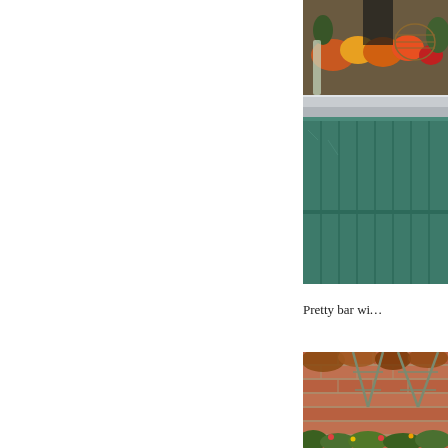[Figure (photo): A teal/green painted wooden bar counter with a marble or metal top surface, displaying wire baskets filled with colorful fruits and a person in black in the background. The bar front has vertical paneling with decorative molding painted in distressed teal color.]
Pretty bar wi...
[Figure (photo): A brick wall partially covered with autumn foliage and green plants, with metal trellis or wire framework visible against the reddish-orange brick.]